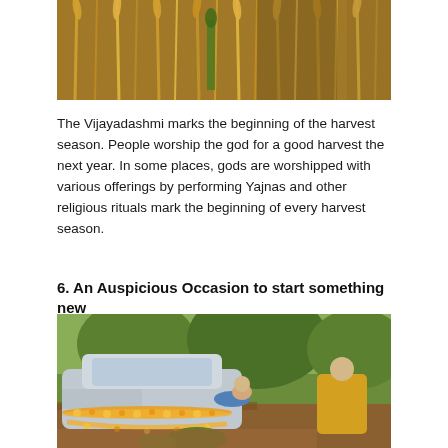[Figure (photo): Close-up photograph of golden wheat/grain stalks in a field, showing ripe grain heads against a background of dry golden grass]
The Vijayadashmi marks the beginning of the harvest season. People worship the god for a good harvest the next year. In some places, gods are worshipped with various offerings by performing Yajnas and other religious rituals mark the beginning of every harvest season.
6. An Auspicious Occasion to start something new
[Figure (photo): Photograph of elderly men bowing or praying near a car decorated with marigold flower garlands, with green trees visible in the background]